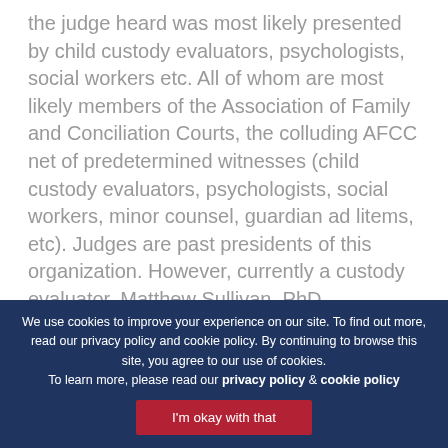the judge heard was most likely presented by child custody evaluators, psychologists, social workers etc. All of whom are most likely members of the Association of Family and Conciliation Courts, the colluding AFCC net of predetermined witnesses (child custody evaluators, psychologists, social workers, minor counsel, guardian ad litems, etc). Judges are past presidents of this organization. However, currently a custody evaluator, Matthew Sullivan, PhD (multimillionaire), is the president of the AFCC. The AFCC
We use cookies to improve your experience on our site. To find out more, read our privacy policy and cookie policy. By continuing to browse this site, you agree to our use of cookies. To learn more, please read our privacy policy & cookie policy